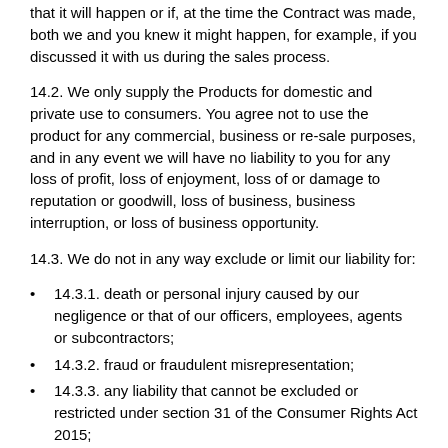that it will happen or if, at the time the Contract was made, both we and you knew it might happen, for example, if you discussed it with us during the sales process.
14.2. We only supply the Products for domestic and private use to consumers. You agree not to use the product for any commercial, business or re-sale purposes, and in any event we will have no liability to you for any loss of profit, loss of enjoyment, loss of or damage to reputation or goodwill, loss of business, business interruption, or loss of business opportunity.
14.3. We do not in any way exclude or limit our liability for:
14.3.1. death or personal injury caused by our negligence or that of our officers, employees, agents or subcontractors;
14.3.2. fraud or fraudulent misrepresentation;
14.3.3. any liability that cannot be excluded or restricted under section 31 of the Consumer Rights Act 2015;
14.3.4. defective products under the Consumer Protection Act 1987;